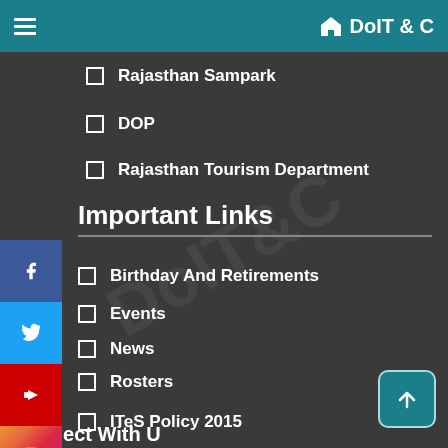≡  DoIT & C
Rajasthan Sampark
DOP
Rajasthan Tourism Department
Important Links
Birthday And Retirements
Events
News
Rosters
News
ITeS Policy 2015
Connect With Us